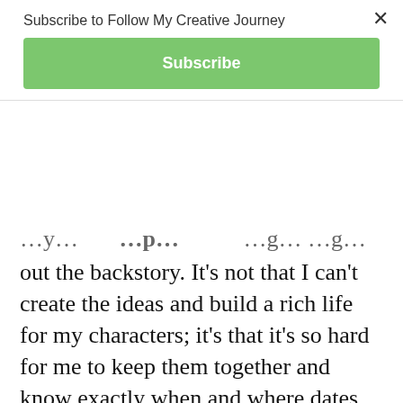Subscribe to Follow My Creative Journey
Subscribe
…y… …p… …g… …g… out the backstory. It’s not that I can’t create the ideas and build a rich life for my characters; it’s that it’s so hard for me to keep them together and know exactly when and where dates and events
happen in time. Right now, I’m working on a novel that is fairly complex and needs to be carefully plotted. It spans generations but the actually telling of the story happens in just under a week and a half. While I’m not actually going to include all of the events of the